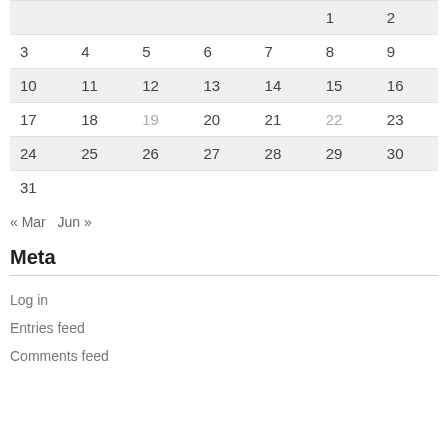|  |  |  |  |  | 1 | 2 |
| 3 | 4 | 5 | 6 | 7 | 8 | 9 |
| 10 | 11 | 12 | 13 | 14 | 15 | 16 |
| 17 | 18 | 19 | 20 | 21 | 22 | 23 |
| 24 | 25 | 26 | 27 | 28 | 29 | 30 |
| 31 |  |  |  |  |  |  |
« Mar  Jun »
Meta
Log in
Entries feed
Comments feed